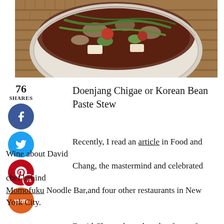[Figure (photo): Overhead photo of a bowl of Korean bean paste stew (Doenjang Chigae) with mushrooms, green onions, and vegetables on a bamboo mat background]
Doenjang Chigae or Korean Bean Paste Stew
[Figure (infographic): Social sharing sidebar with share count (76 SHARES), Facebook button, Twitter button, Pinterest button with 76 badge, and Yummly button]
Recently, I read an article in Food and Wine about David Chang, the mastermind and celebrated chef behind Momofuku Noodle Bar,and four other restaurants in New York City.

David Chang skyrocketed to fame after opening Momofuku Noodle Bar and has been on an unbelievable roll since then. Although I've yet to have the privilege of dining at any of his restaurants (they are near impossible to get into!), I have admired David Chang from afar. He seems like a pretty normal guy, a fun guy, a guy who happens to be really smart, a mastermind in the kitchen, with unique and daring ideas that have started a food revolution.